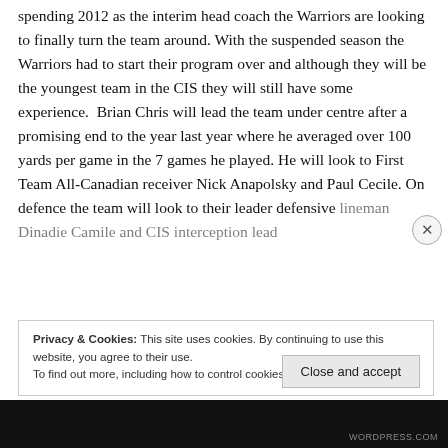spending 2012 as the interim head coach the Warriors are looking to finally turn the team around. With the suspended season the Warriors had to start their program over and although they will be the youngest team in the CIS they will still have some experience.  Brian Chris will lead the team under centre after a promising end to the year last year where he averaged over 100 yards per game in the 7 games he played. He will look to First Team All-Canadian receiver Nick Anapolsky and Paul Cecile. On defence the team will look to their leader defensive lineman Dinadie Camile and CIS interception leader...
Privacy & Cookies: This site uses cookies. By continuing to use this website, you agree to their use.
To find out more, including how to control cookies, see here: Cookie Policy
Close and accept
WORDPRESS.COM